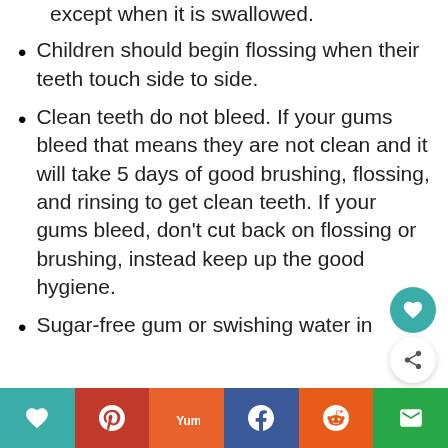except when it is swallowed.
Children should begin flossing when their teeth touch side to side.
Clean teeth do not bleed. If your gums bleed that means they are not clean and it will take 5 days of good brushing, flossing, and rinsing to get clean teeth. If your gums bleed, don't cut back on flossing or brushing, instead keep up the good hygiene.
Sugar-free gum or swishing water in
[Figure (other): Social sharing button bar at the bottom with heart/like, Pinterest, Yummly, Facebook, Reddit, and email icons]